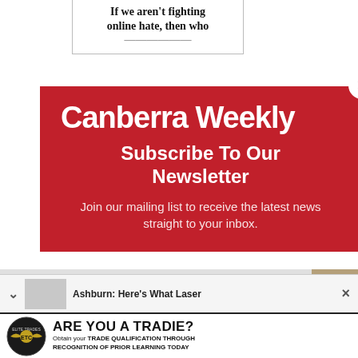If we aren't fighting online hate, then who
[Figure (screenshot): Red modal popup for Canberra Weekly newsletter subscription with close button, logo, subscribe heading, and description text]
Canberra Weekly
Subscribe To Our Newsletter
Join our mailing list to receive the latest news straight to your inbox.
Email
Ashburn: Here's What Laser
ARE YOU A TRADIE?
Obtain your TRADE QUALIFICATION THROUGH RECOGNITION OF PRIOR LEARNING TODAY